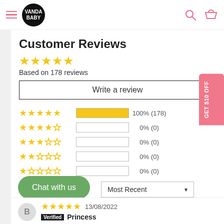[Figure (logo): Vanda Baby logo - black circle with white text]
Customer Reviews
★★★★★
Based on 178 reviews
Write a review
| Stars | Bar | Percent | Count |
| --- | --- | --- | --- |
| ★★★★★ | 100% | 100% | (178) |
| ★★★★☆ |  | 0% | (0) |
| ★★★☆☆ |  | 0% | (0) |
| ★★☆☆☆ |  | 0% | (0) |
| ★☆☆☆☆ |  | 0% | (0) |
GET $10 OFF
Most Recent ▼
Chat with us
13/08/2022
B
Verified   Princess